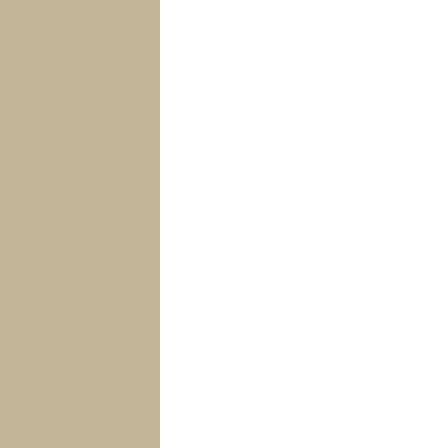RECENT POSTS
Close-up from Diplomatic Ties 503
Diplomatic Ties 503: Dreaming of Monday
Close-up from Summer Knits
Summer Knits
Close-up from Diplomatic Ties 502
RECENT COMMENTS
Daniel Blockert on Close-up from Diplomatic Ties